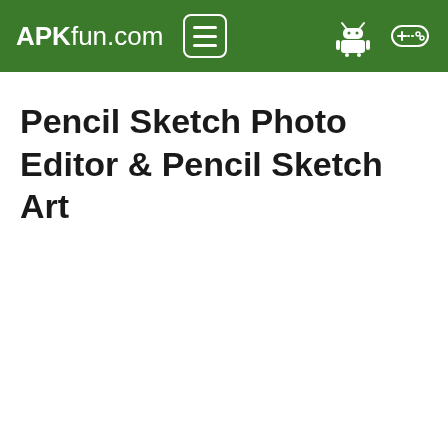APKfun.com
Pencil Sketch Photo Editor & Pencil Sketch Art